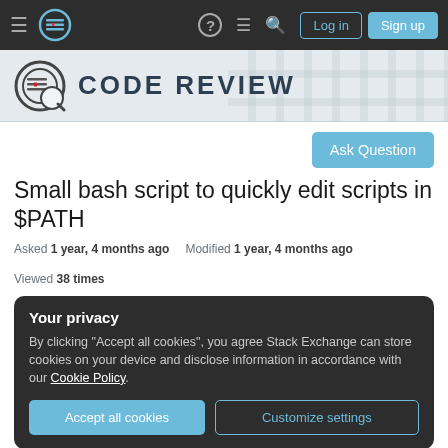Stack Exchange navigation bar with hamburger menu, logo, help, chat, search, Log in and Sign up buttons
[Figure (logo): Code Review Stack Exchange logo with circular icon and CODE REVIEW text]
Ask Question button
Small bash script to quickly edit scripts in $PATH
Asked 1 year, 4 months ago   Modified 1 year, 4 months ago   Viewed 38 times
Your privacy
By clicking "Accept all cookies", you agree Stack Exchange can store cookies on your device and disclose information in accordance with our Cookie Policy.
Accept all cookies   Customize settings
output stuff). Other scripts I find myself elaborating